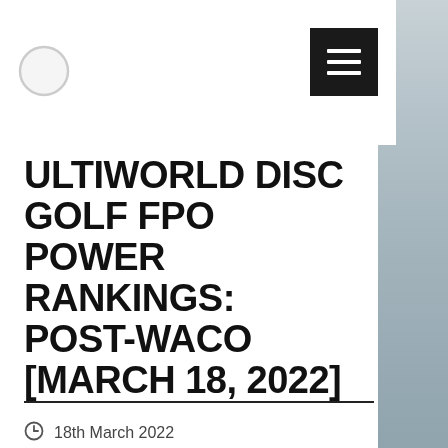[Figure (logo): Circular logo placeholder in top left header area]
[Figure (other): Hamburger menu button (three horizontal white lines on dark background) in top right]
ULTIWORLD DISC GOLF FPO POWER RANKINGS: POST-WACO [MARCH 18, 2022]
18th March 2022